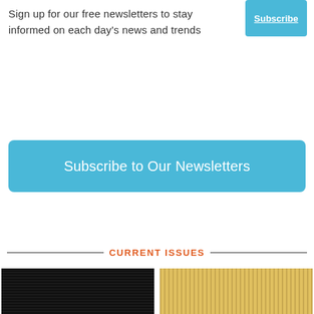Sign up for our free newsletters to stay informed on each day's news and trends
[Figure (screenshot): Blue Subscribe button in top right corner]
Subscribe to Our Newsletters
CURRENT ISSUES
[Figure (photo): Dark magazine cover thumbnail on left]
[Figure (photo): Gold/tan magazine cover thumbnail on right]